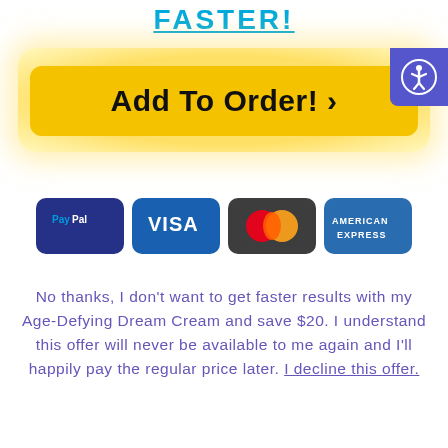FASTER!
[Figure (illustration): Yellow 'Add To Order! >' button with golden glow background, and an accessibility icon in top right corner (blue square with white person icon)]
[Figure (illustration): Payment method icons: PayPal, Visa, Mastercard, American Express]
No thanks, I don't want to get faster results with my Age-Defying Dream Cream and save $20. I understand this offer will never be available to me again and I'll happily pay the regular price later. I decline this offer.